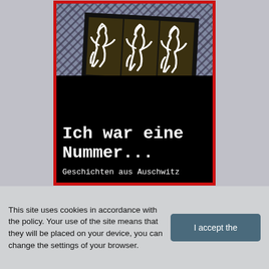[Figure (illustration): Book cover of 'Ich war eine Nummer... Geschichten aus Auschwitz'. Black cover with red border, showing three abstract white scribbled human figure silhouettes on dark olive panels arranged at a slight angle, with a hatched grey pattern background at the top. Title text in white typewriter-style font.]
This site uses cookies in accordance with the policy. Your use of the site means that they will be placed on your device, you can change the settings of your browser.